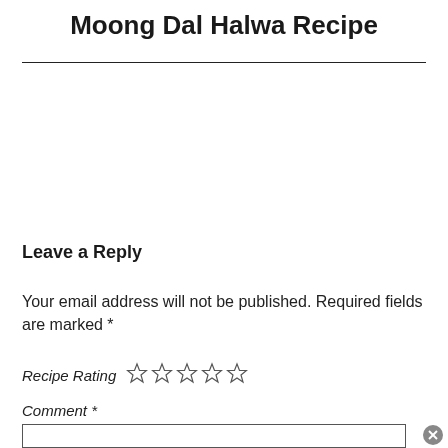Moong Dal Halwa Recipe
Leave a Reply
Your email address will not be published. Required fields are marked *
Recipe Rating ☆☆☆☆☆
Comment *